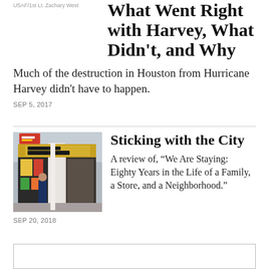USAF/1st Lt. Zachary West
What Went Right with Harvey, What Didn't, and Why
Much of the destruction in Houston from Hurricane Harvey didn't have to happen.
SEP 5, 2017
[Figure (photo): Exterior storefront photo showing a discount appliances store (Zany's) with signage]
Sticking with the City
A review of, “We Are Staying: Eighty Years in the Life of a Family, a Store, and a Neighborhood.”
SEP 20, 2018